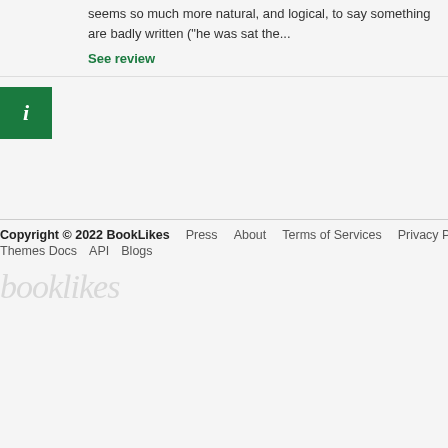seems so much more natural, and logical, to say something are badly written ("he was sat the...
See review
[Figure (other): Green info icon box]
Copyright © 2022 BookLikes   Press   About   Terms of Services   Privacy Policy   Themes Docs   API   Blogs
booklikes